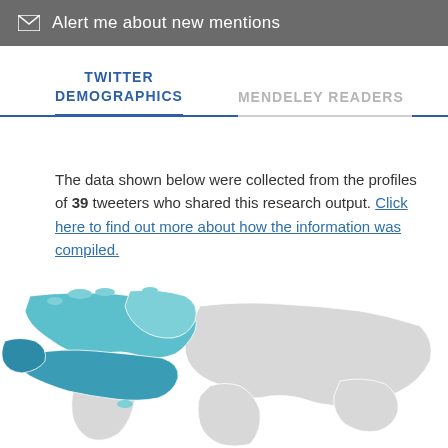Alert me about new mentions
TWITTER DEMOGRAPHICS
MENDELEY READERS
The data shown below were collected from the profiles of 39 tweeters who shared this research output. Click here to find out more about how the information was compiled.
[Figure (map): World map showing Twitter user locations, with North America (particularly USA and Canada) highlighted in teal/blue, and the rest of the world shown in light gray.]